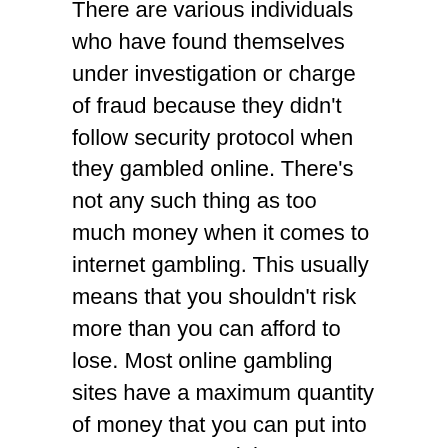There are various individuals who have found themselves under investigation or charge of fraud because they didn't follow security protocol when they gambled online. There's not any such thing as too much money when it comes to internet gambling. This usually means that you shouldn't risk more than you can afford to lose. Most online gambling sites have a maximum quantity of money that you can put into your account and these coverages are usually in place to make sure their clients don't lose all of their cash because they did not use appropriate deposit methods.
Some betting online sites provide bonuses or other promotions. These bonuses can sometimes be worth a substantial amount of money and some individuals can attempt to take advantage of other men and women. However, there are strict rules about what's acceptable with respect to promotions. By way of instance, you shouldn't sign up for a promotion that requires you to